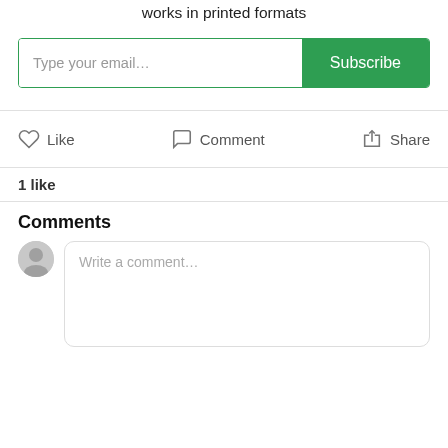Updates from 3 Hole Press, a small press for performance works in printed formats
[Figure (screenshot): Email subscription input field with 'Type your email...' placeholder text and a green 'Subscribe' button]
Like   Comment   Share
1 like
Comments
[Figure (screenshot): Comment input area with user avatar and 'Write a comment...' placeholder text box]